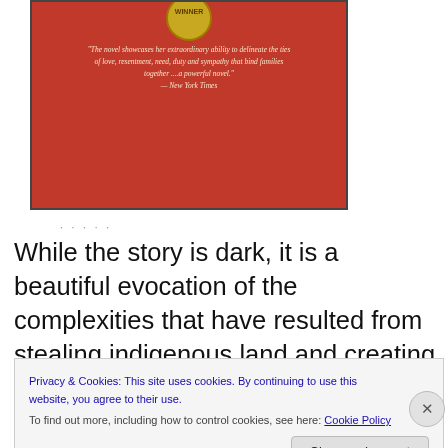[Figure (illustration): Book cover image with red background, a gold 'WINNER' badge at top, and an italic quote in cream text: '"The novel showcases her extraordinary ability to delineate the ties of love, resentment, need, duty and sympathy that bind families together ... a powerful novel." — New York Times']
· · · ·
While the story is dark, it is a beautiful evocation of the complexities that have resulted from stealing indigenous land and creating reserves. It's a coming of age story that
Privacy & Cookies: This site uses cookies. By continuing to use this website, you agree to their use.
To find out more, including how to control cookies, see here: Cookie Policy
Close and accept